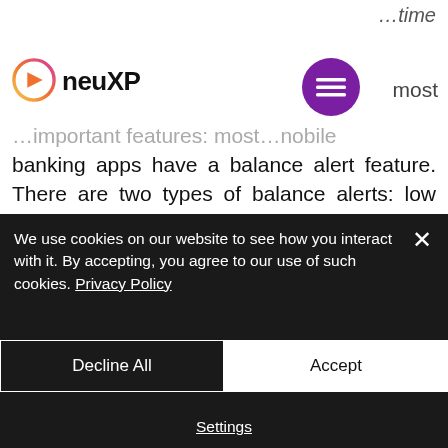…time
[Figure (logo): neuXP logo with circular gradient icon and bold text 'neuXP']
[Figure (other): Purple hamburger menu circle button]
…most important features: most…mobile banking apps have a balance alert feature. There are two types of balance alerts: low balance and high balance. When you set balance alerts, you'll be notified when your balance falls below or rises above the limits you specify. You can receive those…
We use cookies on our website to see how you interact with it. By accepting, you agree to our use of such cookies. Privacy Policy
Decline All
Accept
Settings